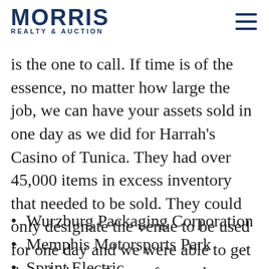MORRIS REALTY & AUCTION
our assets, or you need to liquidate your assets, Morris Realty & Auction is the one to call. If time is of the essence, no matter how large the job, we can have your assets sold in one day as we did for Harrah's Casino of Tunica. They had over 45,000 items in excess inventory that needed to be sold. They could only designate the venue to be used for one day and we were able to get the job done. Some of our other customers include:
Wurzburg Packaging Corporation
Memphis Motorsports Park
Sprint Electric